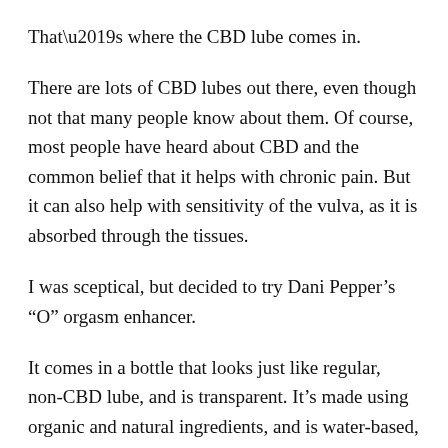That’s where the CBD lube comes in.
There are lots of CBD lubes out there, even though not that many people know about them. Of course, most people have heard about CBD and the common belief that it helps with chronic pain. But it can also help with sensitivity of the vulva, as it is absorbed through the tissues.
I was sceptical, but decided to try Dani Pepper’s “O” orgasm enhancer.
It comes in a bottle that looks just like regular, non-CBD lube, and is transparent. It’s made using organic and natural ingredients, and is water-based, meaning it’s okay to use with latex.